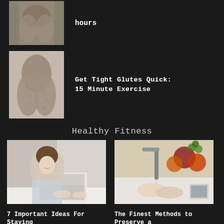[Figure (photo): Cropped photo of person wearing patterned leggings from behind, showing torso/glutes area against light background]
hours
[Figure (photo): Photo of person in patterned workout leggings from behind against white brick wall]
Get Tight Glutes Quick: 15 Minute Exercise
Healthy Fitness
[Figure (photo): Woman sitting at desk working on laptop computer, smiling]
7 Important Ideas For Staying Productive & Wholesome When
[Figure (photo): Hands at kitchen sink with fruits and vegetables visible in background]
The Finest Methods to Preserve a Clear Setting At-Dwelling